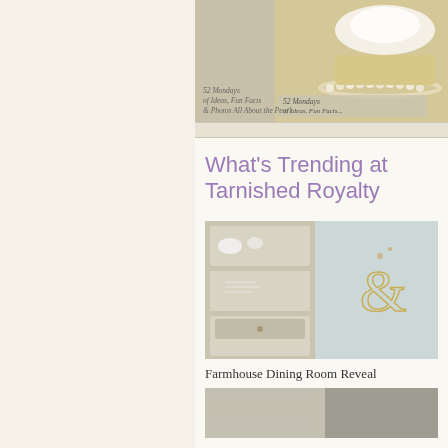[Figure (photo): Top portion of a pearl-themed book or blog header showing a cake or food item with pearls and text '52 Mondays of Ideas, Fun Facts & Photos All About the Pearl']
What's Trending at Tarnished Royalty
[Figure (photo): Farmhouse dining room with a whitewashed hutch displaying dishes and a decorative ampersand symbol on the light blue wall]
Farmhouse Dining Room Reveal
[Figure (photo): Partial view of a second trending item image at the bottom of the page]